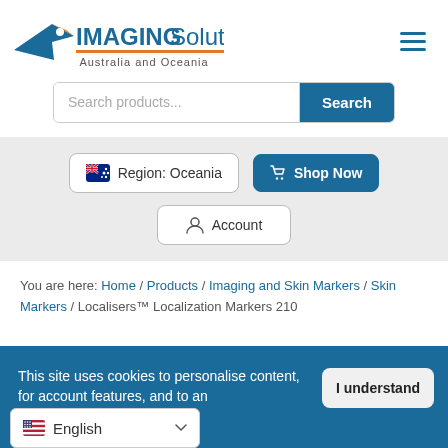[Figure (logo): Imaging Solutions Australia and Oceania logo with blue airplane/arrow icon and orange underline]
Search products...
Search
Region: Oceania
Shop Now
Account
You are here: Home / Products / Imaging and Skin Markers / Skin Markers / Localisers™ Localization Markers 210
This site uses cookies to personalise content, for account features, and to an...
I understand
English